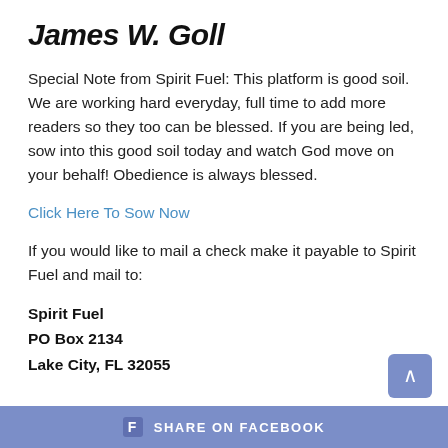James W. Goll
Special Note from Spirit Fuel: This platform is good soil. We are working hard everyday, full time to add more readers so they too can be blessed. If you are being led, sow into this good soil today and watch God move on your behalf! Obedience is always blessed.
Click Here To Sow Now
If you would like to mail a check make it payable to Spirit Fuel and mail to:
Spirit Fuel
PO Box 2134
Lake City, FL 32055
f SHARE ON FACEBOOK